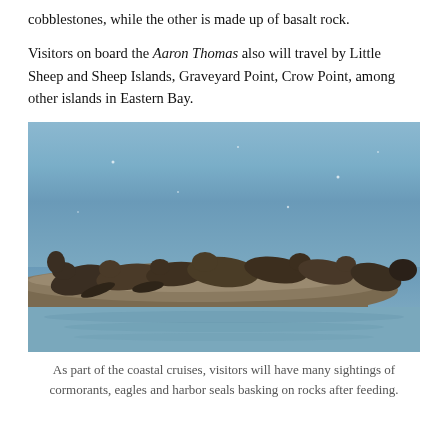cobblestones, while the other is made up of basalt rock.
Visitors on board the Aaron Thomas also will travel by Little Sheep and Sheep Islands, Graveyard Point, Crow Point, among other islands in Eastern Bay.
[Figure (photo): Photograph of a group of harbor seals basking on a rocky outcropping surrounded by water, viewed from a boat.]
As part of the coastal cruises, visitors will have many sightings of cormorants, eagles and harbor seals basking on rocks after feeding.